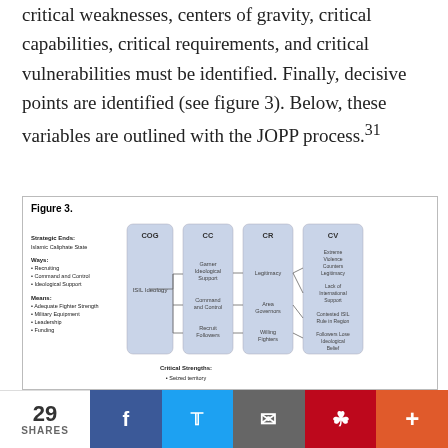critical weaknesses, centers of gravity, critical capabilities, critical requirements, and critical vulnerabilities must be identified. Finally, decisive points are identified (see figure 3). Below, these variables are outlined with the JOPP process.31
[Figure (flowchart): Figure 3. A flowchart showing ISIL ideology as the Center of Gravity (COG) connecting to three Critical Capabilities (CC): Garner Ideological Support, Command and Control, Recruit Followers. Each CC connects to Critical Requirements (CR): Legitimacy, Area Governors, Willing Fighters. Each CR connects to Critical Vulnerabilities (CV): Extreme Violence Counters Legitimacy; Lack of International Support; Contested ISIL Rule in Region; Followers Lose Ideological Belief. Left side lists Strategic Ends: Islamic Caliphate State; Ways: Recruiting, Command and Control, Ideological Support; Means: Adequate Fighter Strength, Military Equipment, Leadership, Funding. Bottom: Critical Strengths: Seized territory.]